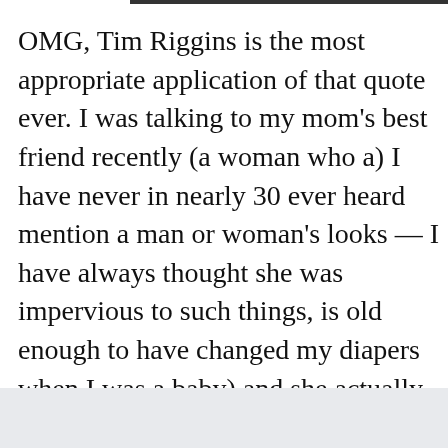OMG, Tim Riggins is the most appropriate application of that quote ever. I was talking to my mom's best friend recently (a woman who a) I have never in nearly 30 ever heard mention a man or woman's looks — I have always thought she was impervious to such things, is old enough to have changed my diapers when I was a baby) and she actually *blushed* when we started talking about our love for Tim Riggins.
Moving back to Austin has exceeded my expectations in almost every possible way, but it has been completely unsatisfactory in the category of “sightings of (preferably shirtless) Tim Riggins.” (I do not know or care what the actor’s name is. He is only Tim Riggins to me.)